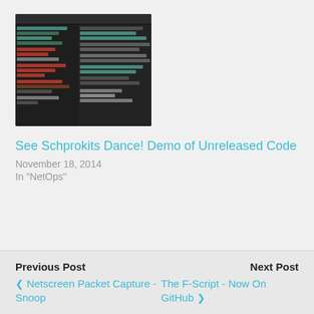[Figure (screenshot): Screenshot of a dark-themed code editor showing code on a split panel view]
See Schprokits Dance! Demo of Unreleased Code
November 18, 2014
In "NetOps"
Previous Post  ❮ Netscreen Packet Capture - Snoop    Next Post  The F-Script - Now On GitHub ❯